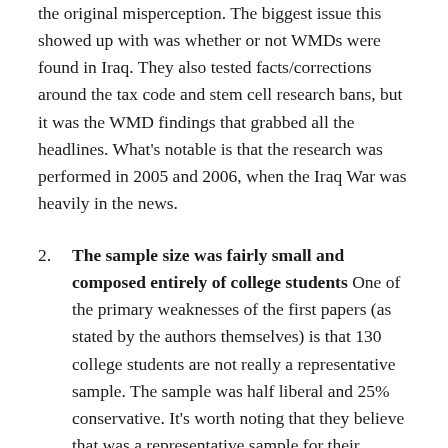the original misperception. The biggest issue this showed up with was whether or not WMDs were found in Iraq. They also tested facts/corrections around the tax code and stem cell research bans, but it was the WMD findings that grabbed all the headlines. What's notable is that the research was performed in 2005 and 2006, when the Iraq War was heavily in the news.
2. The sample size was fairly small and composed entirely of college students One of the primary weaknesses of the first papers (as stated by the authors themselves) is that 130 college students are not really a representative sample. The sample was half liberal and 25% conservative. It's worth noting that they believe that was a representative sample for their campus, meaning all of the conservatives were in an environment